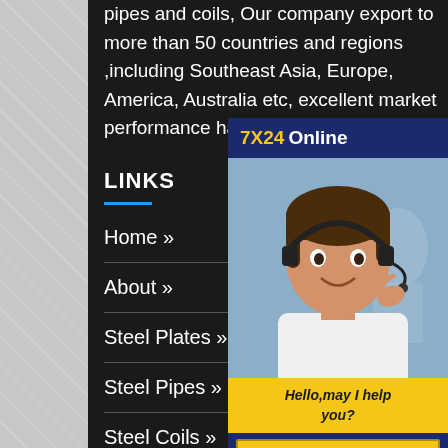pipes and coils, Our company export to more than 50 countries and regions ,including Southeast Asia, Europe, America, Australia etc, excellent market performance has won wide recognition for us.
LINKS
Home »
About »
Steel Plates »
Steel Pipes »
Steel Coils »
Contact »
[Figure (infographic): 7X24 Online customer service popup with a woman wearing a headset smiling, yellow bar saying 'Hello,may I help you?' and a 'Get Latest Price' button]